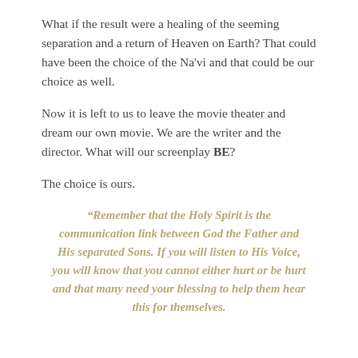What if the result were a healing of the seeming separation and a return of Heaven on Earth? That could have been the choice of the Na'vi and that could be our choice as well.
Now it is left to us to leave the movie theater and dream our own movie. We are the writer and the director. What will our screenplay BE?
The choice is ours.
“Remember that the Holy Spirit is the communication link between God the Father and His separated Sons. If you will listen to His Voice, you will know that you cannot either hurt or be hurt and that many need your blessing to help them hear this for themselves.